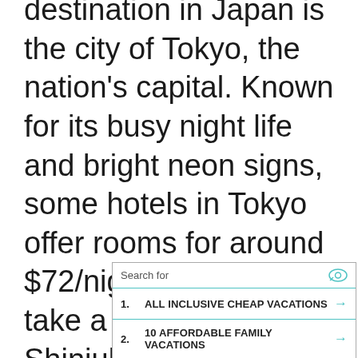destination in Japan is the city of Tokyo, the nation's capital. Known for its busy night life and bright neon signs, some hotels in Tokyo offer rooms for around $72/night. While there, take a trip to see Shinjuku Gyo-en Park or go shopping at Harajuku. Tokyo has a taste of everything for everyone, so don't nd try int is t n
[Figure (screenshot): Ad overlay with search bar showing 'Search for' with eye icon, two ad rows: 1. ALL INCLUSIVE CHEAP VACATIONS (arrow), 2. 10 AFFORDABLE FAMILY VACATIONS (arrow), and footer with 'Ad Business Focus' label and play button.]